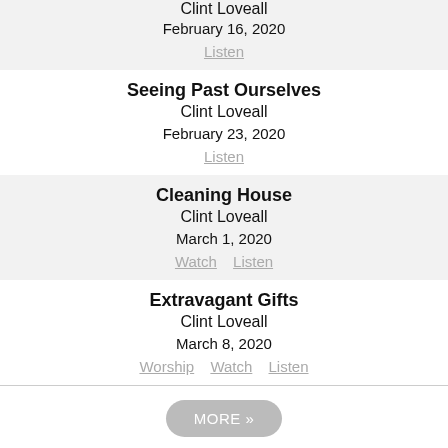Practicing Righteousness / Clint Loveall / February 16, 2020 / Listen
Seeing Past Ourselves / Clint Loveall / February 23, 2020 / Listen
Cleaning House / Clint Loveall / March 1, 2020 / Watch | Listen
Extravagant Gifts / Clint Loveall / March 8, 2020 / Worship | Watch | Listen
MORE »